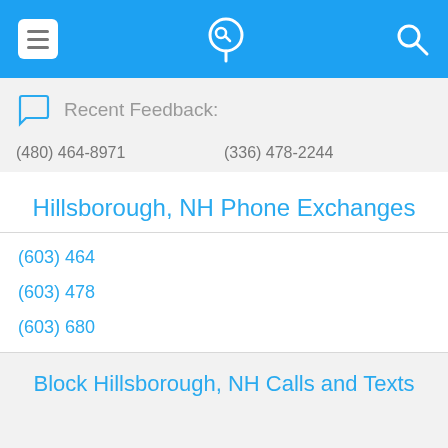Navigation bar with menu, phone/location icon, and search icon
Recent Feedback:
(480) 464-8971    (336) 478-2244
Hillsborough, NH Phone Exchanges
(603) 464
(603) 478
(603) 680
Block Hillsborough, NH Calls and Texts